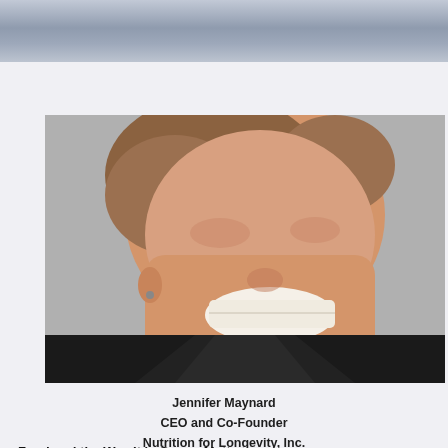[Figure (photo): Close-up portrait photo of a smiling woman with short blonde/brown hair, wearing a dark blazer, against a grey background. The photo shows her face and upper torso. She is Jennifer Maynard.]
Jennifer Maynard
CEO and Co-Founder
Nutrition for Longevity, Inc.
Food and the Way It is Grown Matters
On Tuesday, June 8th, at 1PM EST, join Dr. Tom O'Bryan as he sits dow...